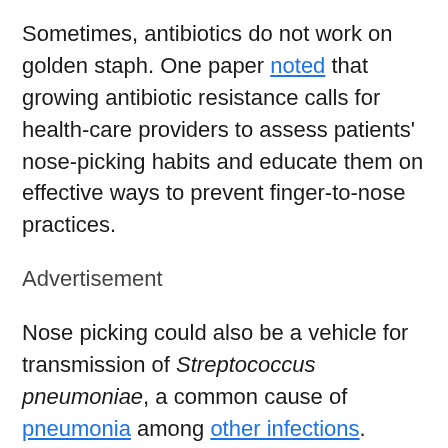Sometimes, antibiotics do not work on golden staph. One paper noted that growing antibiotic resistance calls for health-care providers to assess patients' nose-picking habits and educate them on effective ways to prevent finger-to-nose practices.
Advertisement
Nose picking could also be a vehicle for transmission of Streptococcus pneumoniae, a common cause of pneumonia among other infections.
In other words, sticking a digit in your nose is a great way to jam germs further into your body or spread them around your environment with your snotty finger.